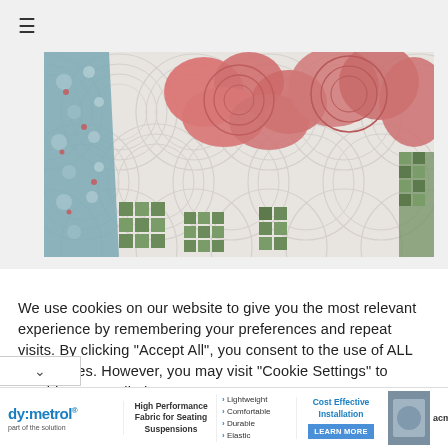[Figure (photo): Close-up photograph of a colorful quilt featuring pink/coral flower shapes, teal floral fabric, green patchwork squares, and white background with circular quilting stitch patterns.]
We use cookies on our website to give you the most relevant experience by remembering your preferences and repeat visits. By clicking "Accept All", you consent to the use of ALL the cookies. However, you may visit "Cookie Settings" to provide a controlled consent.
[Figure (infographic): Advertisement banner for dy:metrol fabric seating suspensions featuring logo, product description (High Performance Fabric for Seating Suspensions), features (Lightweight, Comfortable, Durable, Elastic), Cost Effective Installation with Learn More button, and product photo.]